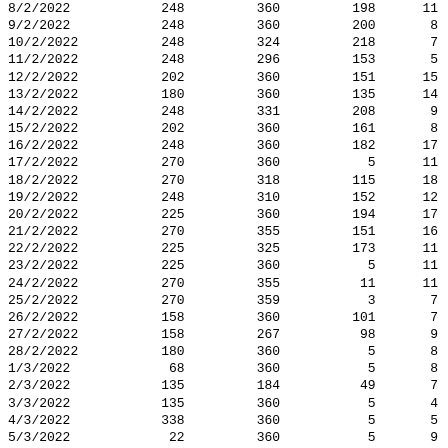| 8/2/2022 | 248 | 360 | 198 | 11 |
| 9/2/2022 | 248 | 360 | 200 | 8 |
| 10/2/2022 | 248 | 324 | 218 | 7 |
| 11/2/2022 | 248 | 296 | 153 | 5 |
| 12/2/2022 | 202 | 360 | 151 | 15 |
| 13/2/2022 | 180 | 360 | 135 | 14 |
| 14/2/2022 | 248 | 331 | 208 | 9 |
| 15/2/2022 | 202 | 360 | 161 | 8 |
| 16/2/2022 | 248 | 360 | 182 | 17 |
| 17/2/2022 | 270 | 360 | 5 | 11 |
| 18/2/2022 | 270 | 318 | 115 | 18 |
| 19/2/2022 | 248 | 310 | 152 | 12 |
| 20/2/2022 | 225 | 360 | 194 | 17 |
| 21/2/2022 | 270 | 355 | 151 | 16 |
| 22/2/2022 | 225 | 325 | 173 | 11 |
| 23/2/2022 | 225 | 360 | 5 | 11 |
| 24/2/2022 | 270 | 355 | 11 | 11 |
| 25/2/2022 | 270 | 359 | 3 | 7 |
| 26/2/2022 | 158 | 360 | 101 | 7 |
| 27/2/2022 | 158 | 267 | 98 | 9 |
| 28/2/2022 | 180 | 360 | 5 | 8 |
| 1/3/2022 | 68 | 360 | 5 | 8 |
| 2/3/2022 | 135 | 184 | 49 | 7 |
| 3/3/2022 | 135 | 360 | 5 | 4 |
| 4/3/2022 | 338 | 360 | 5 | 5 |
| 5/3/2022 | 22 | 360 | 5 | 9 |
| 6/3/2022 | 68 | 360 | 5 | 8 |
| 7/3/2022 | 68 | 360 | 32 | 7 |
| 8/3/2022 | 135 | 217 | 30 | 10 |
| 9/3/2022 | 180 | 225 | 122 | 10 |